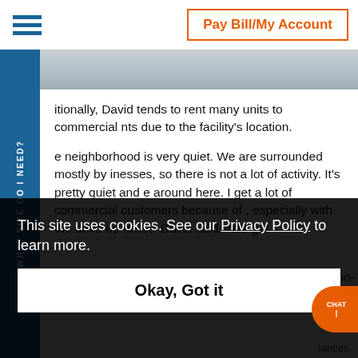Pay Bill/My Account
ionally, David tends to rent many units to commercial nts due to the facility's location.
e neighborhood is very quiet. We are surrounded mostly by inesses, so there is not a lot of activity. It's pretty quiet and e around here. I get a lot of commercial customers because of , especially with the drive-up units," David said. "We get on-
This site uses cookies. See our Privacy Policy to learn more.
Okay, Got it
iances.